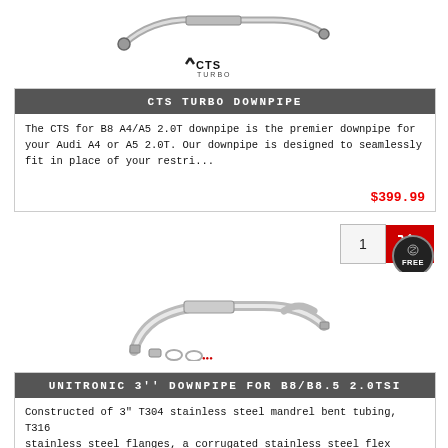[Figure (photo): CTS Turbo downpipe product photo with CTS Turbo logo below]
CTS TURBO DOWNPIPE
The CTS for B8 A4/A5 2.0T downpipe is the premier downpipe for your Audi A4 or A5 2.0T. Our downpipe is designed to seamlessly fit in place of your restri...
$399.99
[Figure (photo): Unitronic 3 inch downpipe product photo with Unitronic logo below]
UNITRONIC 3'' DOWNPIPE FOR B8/B8.5 2.0TSI
Constructed of 3" T304 stainless steel mandrel bent tubing, T316 stainless steel flanges, a corrugated stainless steel flex section, and TIG welded fabrica...
$879.99